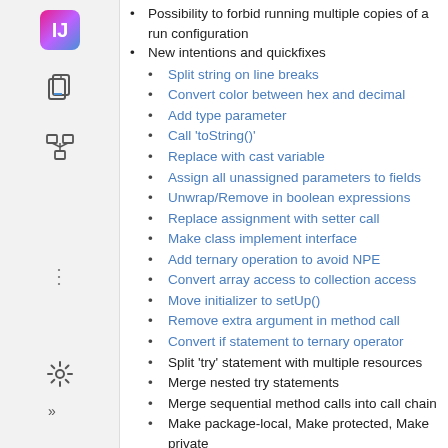Possibility to forbid running multiple copies of a run configuration
New intentions and quickfixes
Split string on line breaks
Convert color between hex and decimal
Add type parameter
Call 'toString()'
Replace with cast variable
Assign all unassigned parameters to fields
Unwrap/Remove in boolean expressions
Replace assignment with setter call
Make class implement interface
Add ternary operation to avoid NPE
Convert array access to collection access
Move initializer to setUp()
Remove extra argument in method call
Convert if statement to ternary operator
Split 'try' statement with multiple resources
Merge nested try statements
Merge sequential method calls into call chain
Make package-local, Make protected, Make private